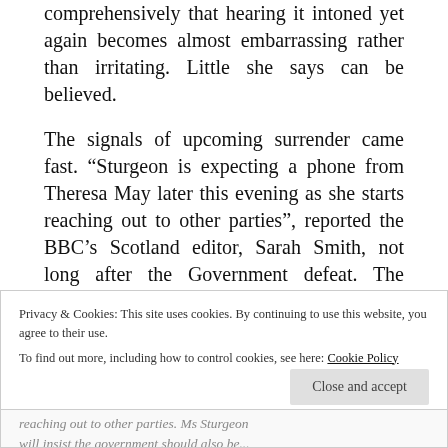comprehensively that hearing it intoned yet again becomes almost embarrassing rather than irritating. Little she says can be believed.
The signals of upcoming surrender came fast. “Sturgeon is expecting a phone from Theresa May later this evening as she starts reaching out to other parties”, reported the BBC’s Scotland editor, Sarah Smith, not long after the Government defeat. The outcome of that isn’t hard to guess, either.
Privacy & Cookies: This site uses cookies. By continuing to use this website, you agree to their use.
To find out more, including how to control cookies, see here: Cookie Policy
Close and accept
reaching out to other parties. Ms Sturgeon will insist the government should also be...